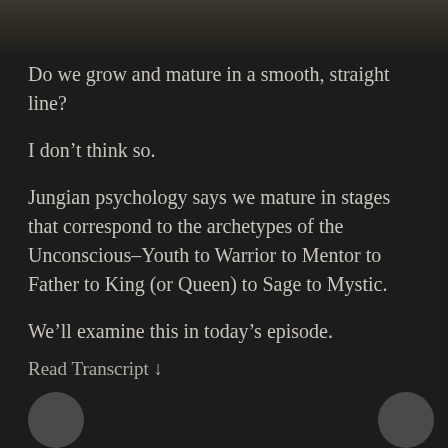[Figure (photo): Partial photo strip at top of page showing blurred background scene]
Do we grow and mature in a smooth, straight line?
I don’t think so.
Jungian psychology says we mature in stages that correspond to the archetypes of the Unconscious–Youth to Warrior to Mentor to Father to King (or Queen) to Sage to Mystic.
We’ll examine this in today’s episode.
Read Transcript ↓